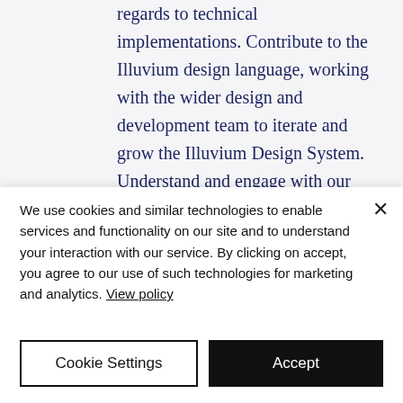regards to technical implementations. Contribute to the Illuvium design language, working with the wider design and development team to iterate and grow the Illuvium Design System. Understand and engage with our growing community, identify their needs and expectations and explore how Illuvium can deliver positive experiences as they engage with our
We use cookies and similar technologies to enable services and functionality on our site and to understand your interaction with our service. By clicking on accept, you agree to our use of such technologies for marketing and analytics. View policy
Cookie Settings
Accept